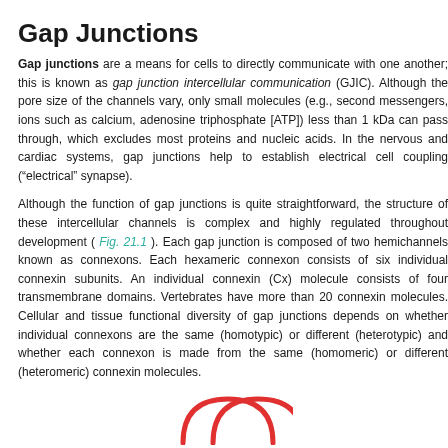Gap Junctions
Gap junctions are a means for cells to directly communicate with one another; this is known as gap junction intercellular communication (GJIC). Although the pore size of the channels vary, only small molecules (e.g., second messengers, ions such as calcium, adenosine triphosphate [ATP]) less than 1 kDa can pass through, which excludes most proteins and nucleic acids. In the nervous and cardiac systems, gap junctions help to establish electrical cell coupling (“electrical” synapse).
Although the function of gap junctions is quite straightforward, the structure of these intercellular channels is complex and highly regulated throughout development ( Fig. 21.1 ). Each gap junction is composed of two hemichannels known as connexons. Each hexameric connexon consists of six individual connexin subunits. An individual connexin (Cx) molecule consists of four transmembrane domains. Vertebrates have more than 20 connexin molecules. Cellular and tissue functional diversity of gap junctions depends on whether individual connexons are the same (homotypic) or different (heterotypic) and whether each connexon is made from the same (homomeric) or different (heteromeric) connexin molecules.
[Figure (illustration): Partial illustration at bottom of page showing two red arch/dome shapes representing connexon hemichannel structures (gap junction diagram, Fig. 21.1)]